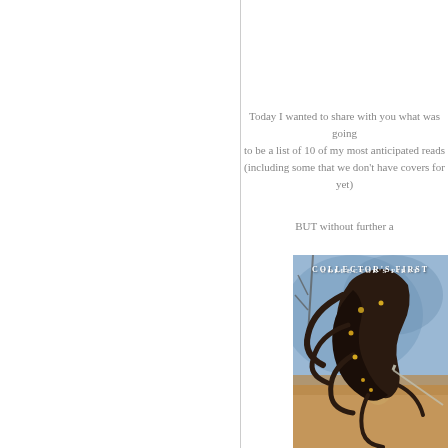Today I wanted to share with you what was going to be a list of 10 of my most anticipated reads (including some that we don't have covers for yet)
BUT without further a
[Figure (illustration): Book cover showing a figure with long flowing dark hair swirling around, with gold accents, against a blue and sandy background. Text reads COLLECTOR'S FIRST at the top.]